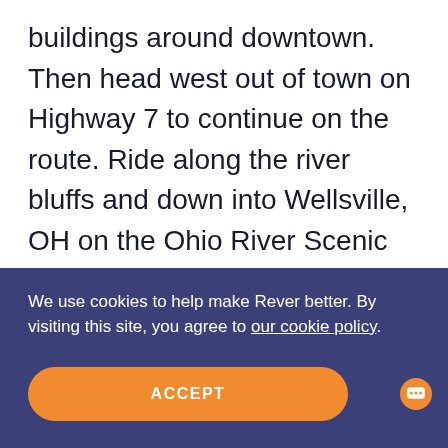buildings around downtown. Then head west out of town on Highway 7 to continue on the route. Ride along the river bluffs and down into Wellsville, OH on the Ohio River Scenic Byway. Outside of town, you'll cross over Yellow Creek into more hills and wooded country along the river. Along the way you'll see the New
We use cookies to help make Rever better. By visiting this site, you agree to our cookie policy.
ACCEPT
CANCEL